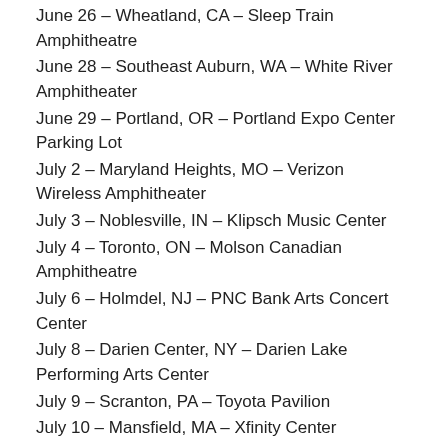June 26 – Wheatland, CA – Sleep Train Amphitheatre
June 28 – Southeast Auburn, WA – White River Amphitheater
June 29 – Portland, OR – Portland Expo Center Parking Lot
July 2 – Maryland Heights, MO – Verizon Wireless Amphitheater
July 3 – Noblesville, IN – Klipsch Music Center
July 4 – Toronto, ON – Molson Canadian Amphitheatre
July 6 – Holmdel, NJ – PNC Bank Arts Concert Center
July 8 – Darien Center, NY – Darien Lake Performing Arts Center
July 9 – Scranton, PA – Toyota Pavilion
July 10 – Mansfield, MA – Xfinity Center
July 11 – Camden, NJ – Susquehanna Bank Center
July 12 – Wantagh, NY – Nikon at Jones Beach Amphitheater